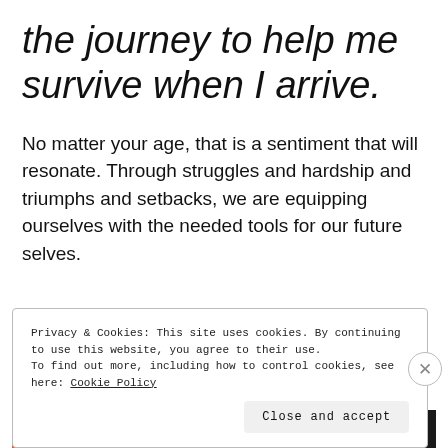the journey to help me survive when I arrive.
No matter your age, that is a sentiment that will resonate. Through struggles and hardship and triumphs and setbacks, we are equipping ourselves with the needed tools for our future selves.
Privacy & Cookies: This site uses cookies. By continuing to use this website, you agree to their use.
To find out more, including how to control cookies, see here: Cookie Policy
Close and accept